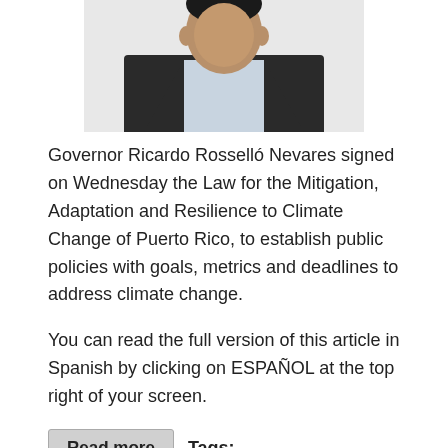[Figure (photo): Photo of Governor Ricardo Rosselló Nevares, a man in a dark suit jacket and light blue shirt, cropped at chest level against a white background.]
Governor Ricardo Rosselló Nevares signed on Wednesday the Law for the Mitigation, Adaptation and Resilience to Climate Change of Puerto Rico, to establish public policies with goals, metrics and deadlines to address climate change.
You can read the full version of this article in Spanish by clicking on ESPAÑOL at the top right of your screen.
Read more   Tags:
climate change   Science Policy   política pública   cambio climático
Log in or register to post comments
Español